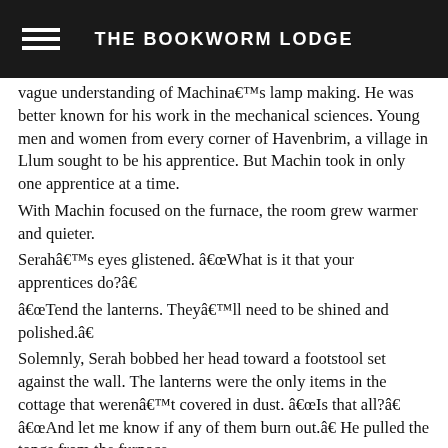THE BOOKWORM LODGE
vague understanding of Machina’s lamp making. He was better known for his work in the mechanical sciences. Young men and women from every corner of Havenbrim, a village in Llum sought to be his apprentice. But Machin took in only one apprentice at a time.
With Machin focused on the furnace, the room grew warmer and quieter.
Serah’s eyes glistened. “What is it that your apprentices do?”
“Tend the lanterns. They’ll need to be shined and polished.”
Solemnly, Serah bobbed her head toward a footstool set against the wall. The lanterns were the only items in the cottage that weren’t covered in dust. “Is that all?” “And let me know if any of them burn out.” He pulled the tongs from the furnace.
Serah blinked. The dark material glowed orange. Machin